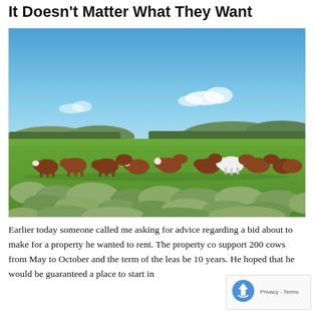It Doesn't Matter What They Want
[Figure (photo): Herd of brown and white cattle standing in a green pasture with sagebrush in the foreground, rolling hills and blue sky in the background.]
Earlier today someone called me asking for advice regarding a bid about to make for a property he wanted to rent. The property co support 200 cows from May to October and the term of the leas be 10 years. He hoped that he would be guaranteed a place to start in